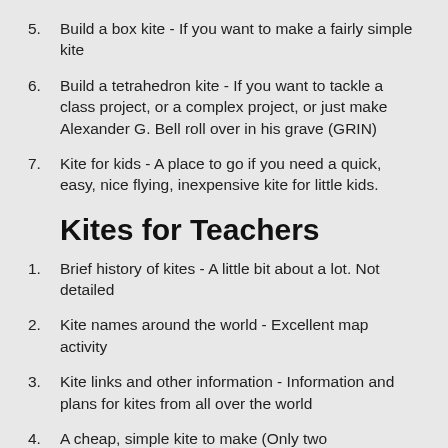5. Build a box kite - If you want to make a fairly simple kite
6. Build a tetrahedron kite - If you want to tackle a class project, or a complex project, or just make Alexander G. Bell roll over in his grave (GRIN)
7. Kite for kids - A place to go if you need a quick, easy, nice flying, inexpensive kite for little kids.
Kites for Teachers
1. Brief history of kites - A little bit about a lot. Not detailed
2. Kite names around the world - Excellent map activity
3. Kite links and other information - Information and plans for kites from all over the world
4. A cheap, simple kite to make (Only two